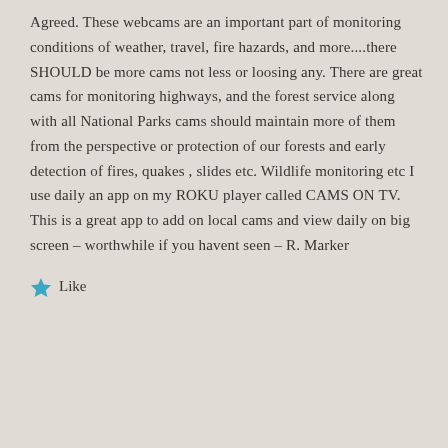Agreed. These webcams are an important part of monitoring conditions of weather, travel, fire hazards, and more....there SHOULD be more cams not less or loosing any. There are great cams for monitoring highways, and the forest service along with all National Parks cams should maintain more of them from the perspective or protection of our forests and early detection of fires, quakes , slides etc. Wildlife monitoring etc I use daily an app on my ROKU player called CAMS ON TV. This is a great app to add on local cams and view daily on big screen – worthwhile if you havent seen – R. Marker
Like